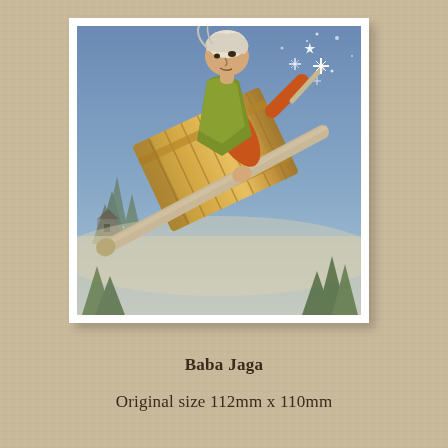[Figure (illustration): Illustration of Baba Jaga, an old woman with white hair riding in a wooden barrel or mortar through a night sky with stars, wearing an orange long-sleeved shirt and green vest/dress, holding a stick, with pine trees and a small house visible in the background below.]
Baba Jaga
Original size 112mm x 110mm